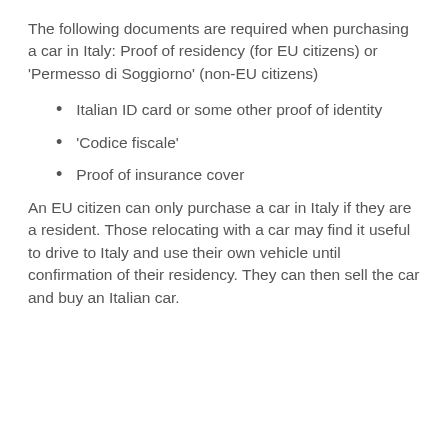The following documents are required when purchasing a car in Italy: Proof of residency (for EU citizens) or 'Permesso di Soggiorno' (non-EU citizens)
Italian ID card or some other proof of identity
‘Codice fiscale’
Proof of insurance cover
An EU citizen can only purchase a car in Italy if they are a resident. Those relocating with a car may find it useful to drive to Italy and use their own vehicle until confirmation of their residency. They can then sell the car and buy an Italian car.